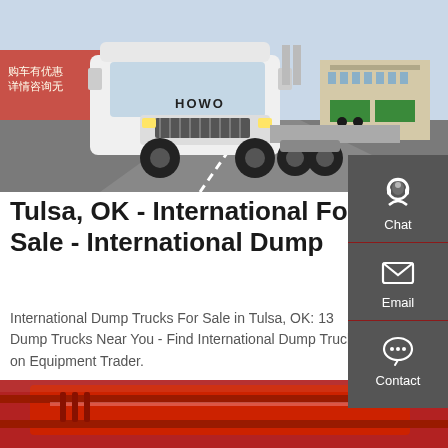[Figure (photo): White HOWO semi-truck / tractor unit parked in a lot, front 3/4 view, with red signage building in background and other trucks visible]
Tulsa, OK - International For Sale - International Dump
International Dump Trucks For Sale in Tulsa, OK: 13 Dump Trucks Near You - Find International Dump Trucks on Equipment Trader.
GET A QUOTE
[Figure (photo): Red dump truck body / dump bed partial view at bottom of page]